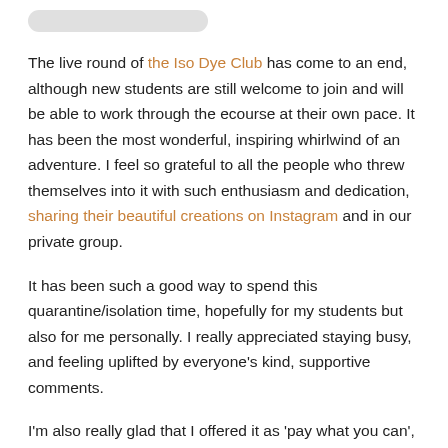The live round of the Iso Dye Club has come to an end, although new students are still welcome to join and will be able to work through the ecourse at their own pace. It has been the most wonderful, inspiring whirlwind of an adventure. I feel so grateful to all the people who threw themselves into it with such enthusiasm and dedication, sharing their beautiful creations on Instagram and in our private group.
It has been such a good way to spend this quarantine/isolation time, hopefully for my students but also for me personally. I really appreciated staying busy, and feeling uplifted by everyone's kind, supportive comments.
I'm also really glad that I offered it as 'pay what you can', to make it accessible to lots of people, especially at this time when so many of us are out of work or underemployed. Going forward, I want to bring this pricing model to more of my business, because